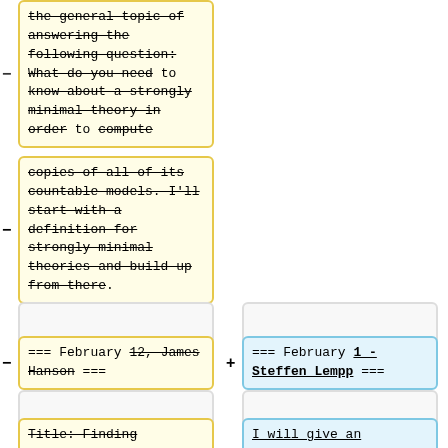- [deleted] the general topic of answering the following question: What do you need to know about a strongly minimal theory in order to compute
- [deleted] copies of all of its countable models. I'll start with a definition for strongly minimal theories and build up from there.
- [deleted] === February 12, James Hanson ===
+ [added] === February 1 - Steffen Lempp ===
- [deleted] Title: Finding Definable Sets in Continuous Logic
+ [added] I will give an overview of the topics we will cover: